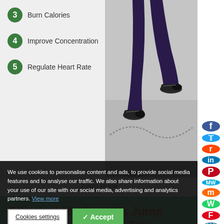[Figure (infographic): Infographic showing numbered list items: 3 Burn Calories, 4 Improve Concentration, 5 Regulate Heart Rate, with a photo of person's legs jumping rope on the right side]
Jump Rope
Elliptical Machine Vs Jump Rope Which's Better For Reducing Belly Fat?
Do you want to know which is
We use cookies to personalise content and ads, to provide social media features and to analyse our traffic. We also share information about your use of our site with our social media, advertising and analytics partners. View more
Cookies settings | Accept | Cookies settings